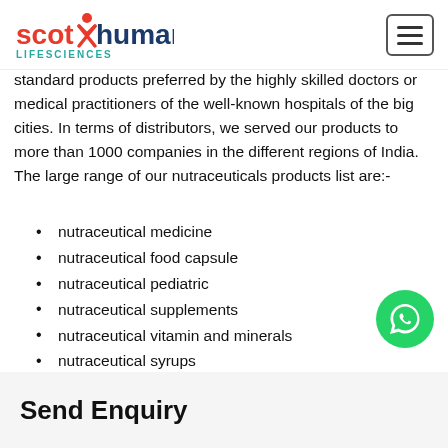scot human LIFESCIENCES [logo] [hamburger menu]
standard products preferred by the highly skilled doctors or medical practitioners of the well-known hospitals of the big cities. In terms of distributors, we served our products to more than 1000 companies in the different regions of India. The large range of our nutraceuticals products list are:-
nutraceutical medicine
nutraceutical food capsule
nutraceutical pediatric
nutraceutical supplements
nutraceutical vitamin and minerals
nutraceutical syrups
nutraceutical juices
nutraceutical sachet
nutraceutical softgel
Send Enquiry